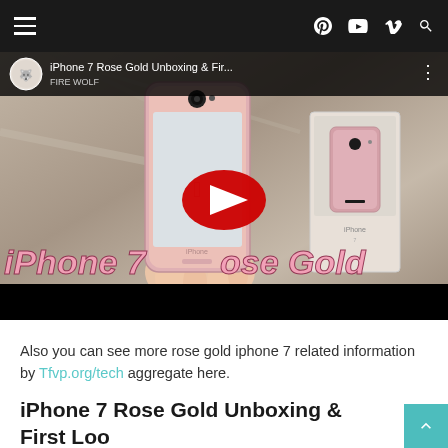Navigation bar with hamburger menu and social/search icons
[Figure (screenshot): YouTube video thumbnail for 'iPhone 7 Rose Gold Unboxing & Fir...' showing a rose gold iPhone 7 held in a hand with the box behind it, with a large YouTube play button overlay and pink italic text reading 'iPhone 7 Rose Gold']
Also you can see more rose gold iphone 7 related information by Tfvp.org/tech aggregate here.
iPhone 7 Rose Gold Unboxing & First Loo...